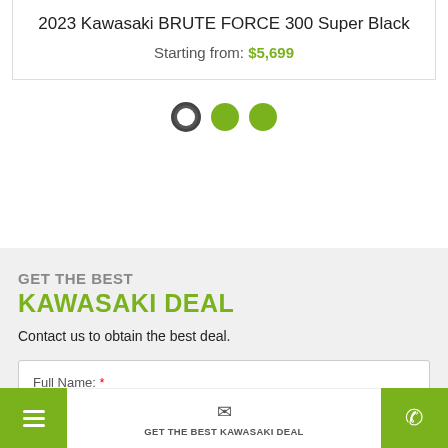2023 Kawasaki BRUTE FORCE 300 Super Black
Starting from: $5,699
[Figure (other): Three pagination dots: first dot is dark/outlined (active), second and third are solid green]
GET THE BEST KAWASAKI DEAL
Contact us to obtain the best deal.
Full Name: *
Phone: *
GET THE BEST KAWASAKI DEAL